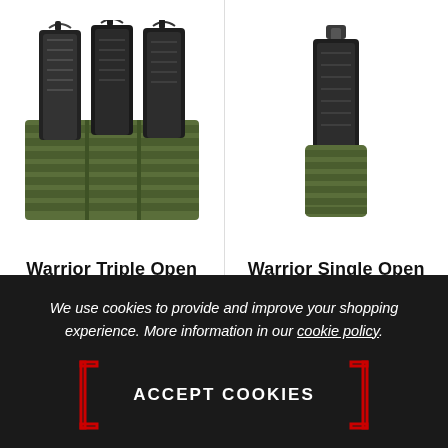[Figure (photo): Three olive drab MOLLE magazine pouches with black AK 7.62mm magazines inserted, viewed from the front]
Warrior Triple Open AK7.62mm Olive Drab
£26.95
[Figure (photo): Single olive drab MOLLE magazine pouch with a black magazine inserted, viewed from the front]
Warrior Single Open G36 Olive Drab
£15.95
We use cookies to provide and improve your shopping experience. More information in our cookie policy.
ACCEPT COOKIES